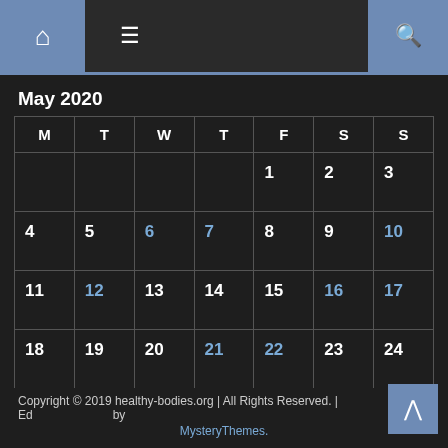Home | Menu | Search
May 2020
| M | T | W | T | F | S | S |
| --- | --- | --- | --- | --- | --- | --- |
|  |  |  |  | 1 | 2 | 3 |
| 4 | 5 | 6 | 7 | 8 | 9 | 10 |
| 11 | 12 | 13 | 14 | 15 | 16 | 17 |
| 18 | 19 | 20 | 21 | 22 | 23 | 24 |
| 25 | 26 | 27 | 28 | 29 | 30 | 31 |
« Apr  Jun »
Copyright © 2019 healthy-bodies.org | All Rights Reserved. | Edby MysteryThemes.